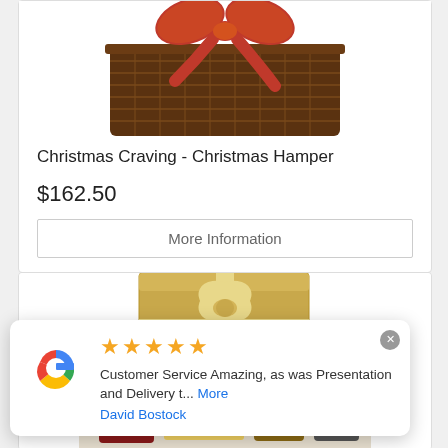[Figure (photo): Christmas wicker hamper basket with a red and gold decorative bow/ribbon on top, photographed from slightly above]
Christmas Craving - Christmas Hamper
$162.50
More Information
[Figure (photo): Gold gift box with cream/gold ribbon bow, partially shown, and food items below including cheese and condiments]
[Figure (logo): Google G logo in red, blue, yellow and green colors]
★★★★★
Customer Service Amazing, as was Presentation and Delivery t... More
David Bostock